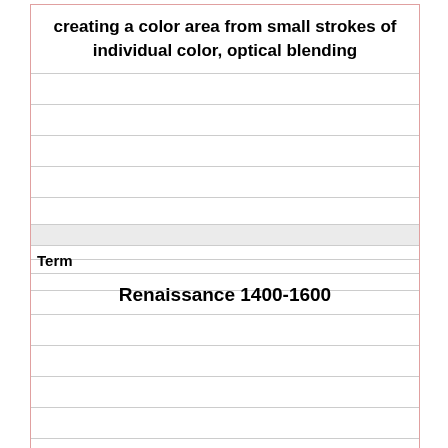creating a color area from small strokes of individual color, optical blending
| Term |
| --- |
| Renaissance 1400-1600 |
|  |
|  |
|  |
|  |
|  |
|  |
|  |